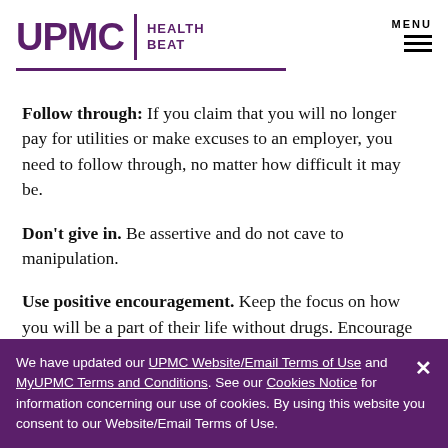UPMC HEALTH BEAT
Follow through: If you claim that you will no longer pay for utilities or make excuses to an employer, you need to follow through, no matter how difficult it may be.
Don't give in. Be assertive and do not cave to manipulation.
Use positive encouragement. Keep the focus on how you will be a part of their life without drugs. Encourage behavior that shows a…
We have updated our UPMC Website/Email Terms of Use and MyUPMC Terms and Conditions. See our Cookies Notice for information concerning our use of cookies. By using this website you consent to our Website/Email Terms of Use.